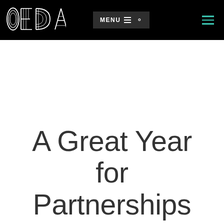[Figure (logo): OEDA logo in white outline style on black header bar]
MENU ☰ 🔍  ≡
A Great Year for Partnerships